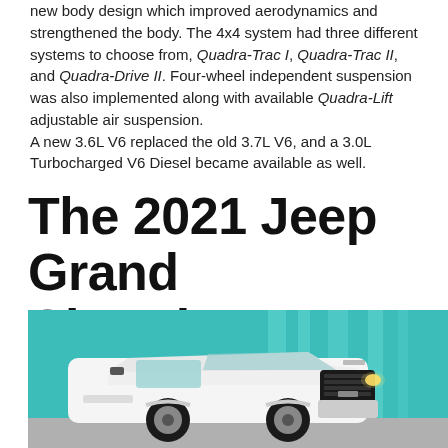new body design which improved aerodynamics and strengthened the body. The 4x4 system had three different systems to choose from, Quadra-Trac I, Quadra-Trac II, and Quadra-Drive II. Four-wheel independent suspension was also implemented along with available Quadra-Lift adjustable air suspension.
A new 3.6L V6 replaced the old 3.7L V6, and a 3.0L Turbocharged V6 Diesel became available as well.
The 2021 Jeep Grand Cherokee
[Figure (photo): Photo of a white 2021 Jeep Grand Cherokee in front of a teal/green wall background]